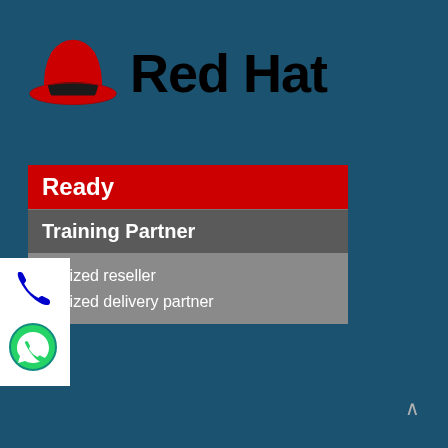[Figure (logo): Red Hat logo: red fedora hat with black band, followed by bold 'Red Hat' text in black on teal background]
Ready
Training Partner
Authorized reseller
Authorized delivery partner
[Figure (illustration): Phone and WhatsApp contact icons on white background panel on left side]
^